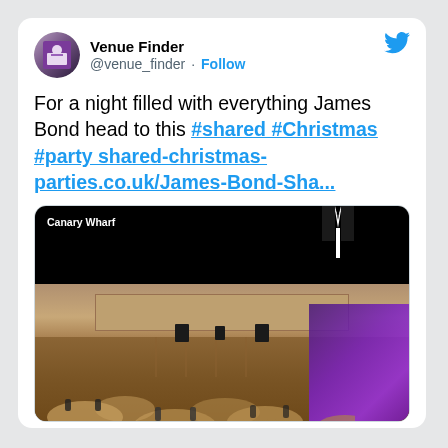Venue Finder @venue_finder · Follow
For a night filled with everything James Bond head to this #shared #Christmas #party shared-christmas-parties.co.uk/James-Bond-Sha...
[Figure (screenshot): Ballroom/banquet hall with round tables set for dinner, purple stage lighting on right side, black top bar with 'Canary Wharf' text and tuxedo silhouette]